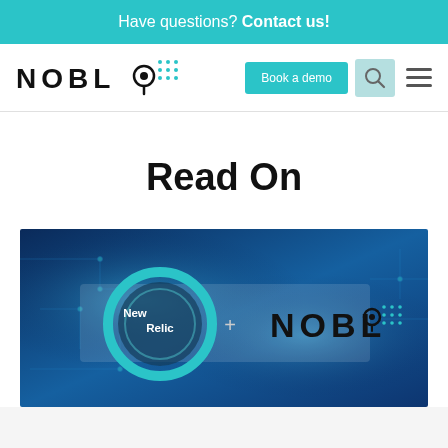Have questions? Contact us!
[Figure (logo): NOBL9 logo with teal dot grid pattern, Book a demo button, search icon, hamburger menu]
Read On
[Figure (photo): New Relic + NOBL9 banner image over blue circuit board background with New Relic teal ring logo and NOBL9 logo]